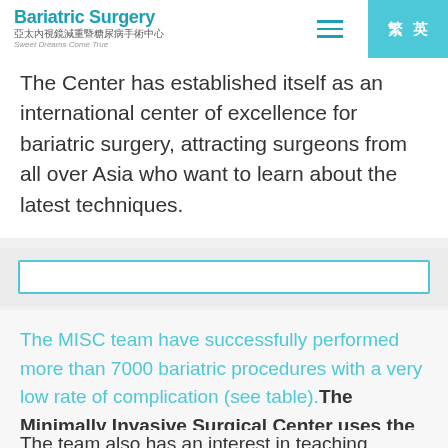Bariatric Surgery 亞太內視鏡減重暨糖尿病手術中心 Sweet Dreams Come True
The Center has established itself as an international center of excellence for bariatric surgery, attracting surgeons from all over Asia who want to learn about the latest techniques.
The MISC team have successfully performed more than 7000 bariatric procedures with a very low rate of complication (see table).The Minimally Invasive Surgical Center uses the latest technology and surgical techniques available
The team also has...